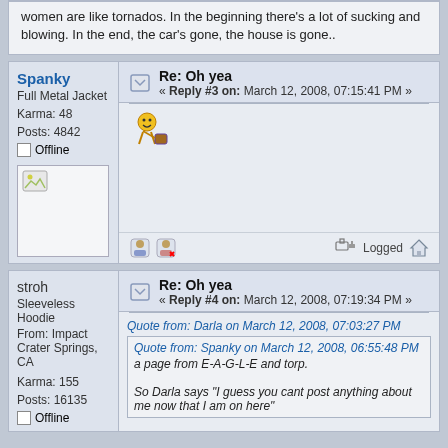women are like tornados. In the beginning there's a lot of sucking and blowing. In the end, the car's gone, the house is gone..
Spanky — Re: Oh yea — Reply #3 on: March 12, 2008, 07:15:41 PM
[emoji image]
[Figure (illustration): A broken image placeholder icon]
stroh — Re: Oh yea — Reply #4 on: March 12, 2008, 07:19:34 PM
Quote from: Darla on March 12, 2008, 07:03:27 PM
Quote from: Spanky on March 12, 2008, 06:55:48 PM
a page from E-A-G-L-E and torp.

So Darla says "I guess you cant post anything about me now that I am on here"